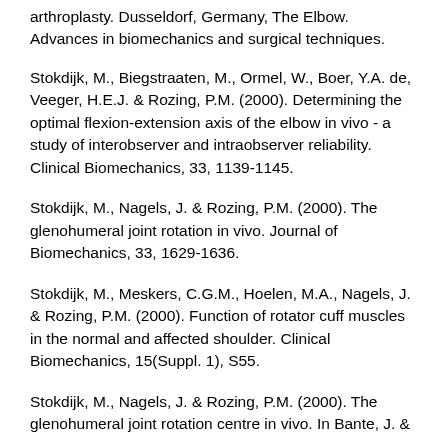arthroplasty. Dusseldorf, Germany, The Elbow. Advances in biomechanics and surgical techniques.
Stokdijk, M., Biegstraaten, M., Ormel, W., Boer, Y.A. de, Veeger, H.E.J. & Rozing, P.M. (2000). Determining the optimal flexion-extension axis of the elbow in vivo - a study of interobserver and intraobserver reliability. Clinical Biomechanics, 33, 1139-1145.
Stokdijk, M., Nagels, J. & Rozing, P.M. (2000). The glenohumeral joint rotation in vivo. Journal of Biomechanics, 33, 1629-1636.
Stokdijk, M., Meskers, C.G.M., Hoelen, M.A., Nagels, J. & Rozing, P.M. (2000). Function of rotator cuff muscles in the normal and affected shoulder. Clinical Biomechanics, 15(Suppl. 1), S55.
Stokdijk, M., Nagels, J. & Rozing, P.M. (2000). The glenohumeral joint rotation centre in vivo. In Bante, J. &